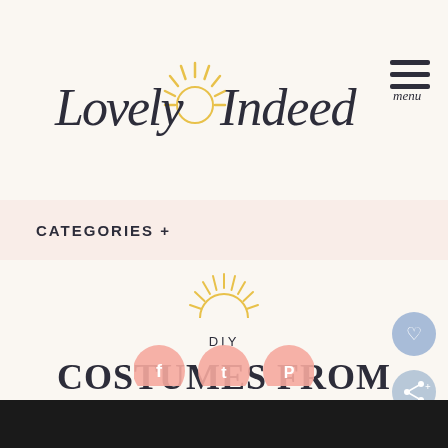[Figure (logo): Lovely Indeed cursive script logo with sun/starburst icon in gold, menu hamburger icon top right]
CATEGORIES +
[Figure (illustration): Gold sun/starburst half-sun icon above DIY label]
DIY
COSTUMES FROM YOUR CLOSET // SODA JERK
[Figure (illustration): Social share icons: heart button (blue), share button (gray-blue), and partial social media circles (Facebook, Twitter, Pinterest) at bottom]